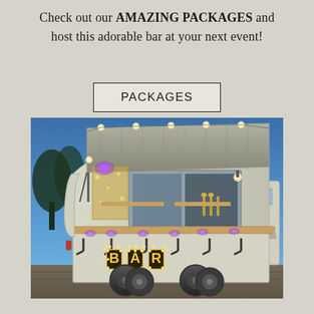Check out our AMAZING PACKAGES and host this adorable bar at your next event!
PACKAGES
[Figure (photo): A white converted horse trailer bar on wheels, open from the side with a metal corrugated roof lifted up, string lights along the eaves, purple LED accent lights along the bar counter, a wooden bar top, black industrial pipe supports and hooks, three beer taps visible inside, and illuminated marquee letter sign reading 'BAR' mounted on the front. Photographed at dusk with a blue sky background.]